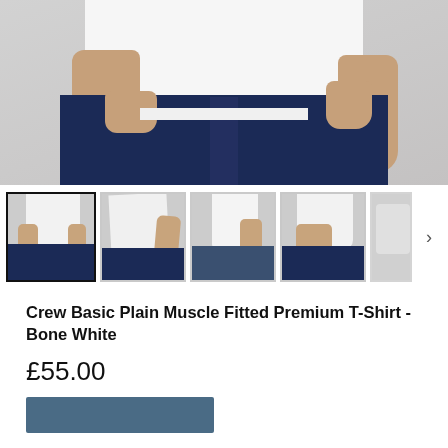[Figure (photo): Main product photo showing torso of man wearing white crew neck t-shirt tucked slightly, with navy shorts. Grey background. Close-up showing from chest to mid-thigh.]
[Figure (photo): Thumbnail gallery row showing 4+ alternative product photos of the same white t-shirt worn by a male model from different angles (front full, side/angled, side profile, close-up front). First thumbnail is selected/active with black border.]
Crew Basic Plain Muscle Fitted Premium T-Shirt - Bone White
£55.00